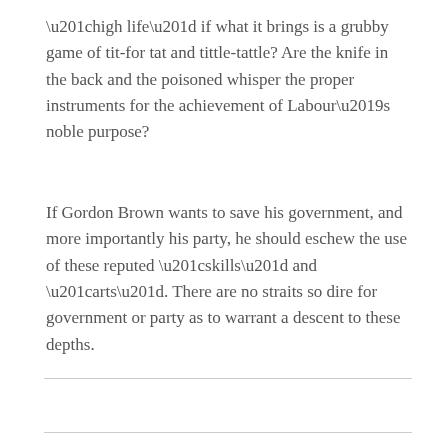“high life” if what it brings is a grubby game of tit-for tat and tittle-tattle? Are the knife in the back and the poisoned whisper the proper instruments for the achievement of Labour’s noble purpose?
If Gordon Brown wants to save his government, and more importantly his party, he should eschew the use of these reputed “skills” and “arts”. There are no straits so dire for government or party as to warrant a descent to these depths.